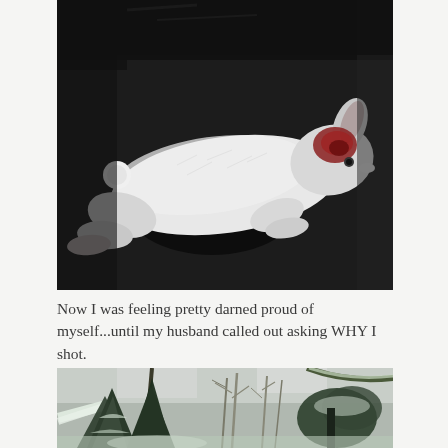[Figure (photo): A white snowshoe hare or rabbit lying on a dark surface, with reddish injury visible near the head/neck area. The animal appears to have been shot while hunting.]
Now I was feeling pretty darned proud of myself...until my husband called out asking WHY I shot.
[Figure (photo): A winter forest scene with snow-covered evergreen and bare deciduous trees, viewed from a low angle looking upward through the dense woodland.]